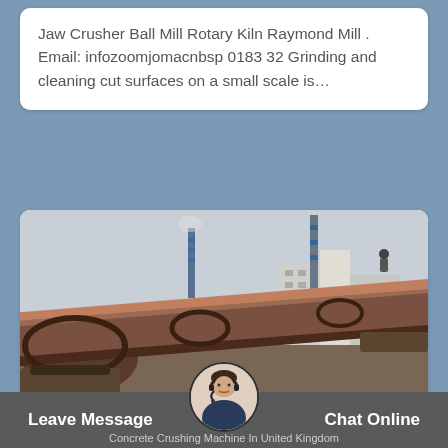Jaw Crusher Ball Mill Rotary Kiln Raymond Mill . Email: infozoomjomacnbsp 0183 32 Grinding and cleaning cut surfaces on a small scale is…
[Figure (photo): Large rotary kiln industrial machinery outdoors, brown cylindrical drum angled diagonally, industrial buildings and chimneys in background]
concrete recycling crusher manufacturers in uk kazakhstand
Concrete Crushing Machine In United Kingdom
Leave Message
Chat Online